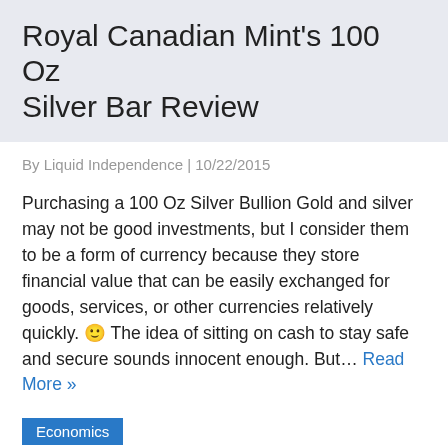Royal Canadian Mint's 100 Oz Silver Bar Review
By Liquid Independence | 10/22/2015
Purchasing a 100 Oz Silver Bullion Gold and silver may not be good investments, but I consider them to be a form of currency because they store financial value that can be easily exchanged for goods, services, or other currencies relatively quickly. 🙂 The idea of sitting on cash to stay safe and secure sounds innocent enough. But… Read More »
Economics
bullion
mint
precious metals
royal canadian mint
silver
My New Silver Coins